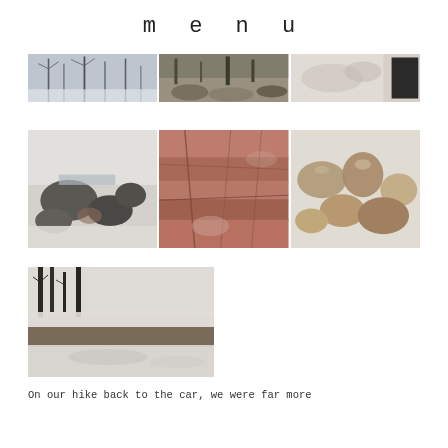menu
[Figure (photo): Three horizontal landscape/nature photos in a strip: snowy trees/branches, rocky terrain with trees, and a light rocky/cloudy scene with a dark square at right edge]
[Figure (photo): Three square nature photos side by side: snow-covered rocks and stream, close-up red/brown rock surface, and tan/brown rocks against white snow]
[Figure (photo): Single square photo of a snowy landscape with dark trees and a riverbank]
On our hike back to the car, we were far more